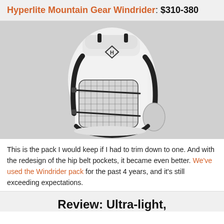Hyperlite Mountain Gear Windrider: $310-380
[Figure (photo): White Hyperlite Mountain Gear Windrider backpack with black mesh front pocket and black straps, shown on a gray background in profile/three-quarter view]
This is the pack I would keep if I had to trim down to one. And with the redesign of the hip belt pockets, it became even better. We've used the Windrider pack for the past 4 years, and it's still exceeding expectations.
Review: Ultra-light,